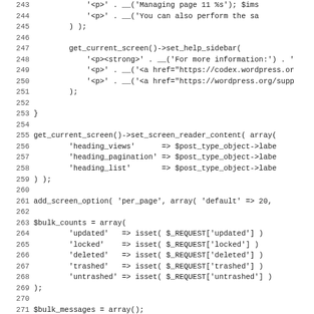Source code listing, lines 243–275, showing PHP WordPress plugin code including get_current_screen(), set_help_sidebar(), set_screen_reader_content(), add_screen_option(), $bulk_counts array, and $bulk_messages array definitions.